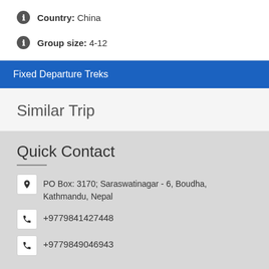Country: China
Group size: 4-12
Fixed Departure Treks
Similar Trip
Quick Contact
PO Box: 3170; Saraswatinagar - 6, Boudha, Kathmandu, Nepal
+9779841427448
+9779849046943